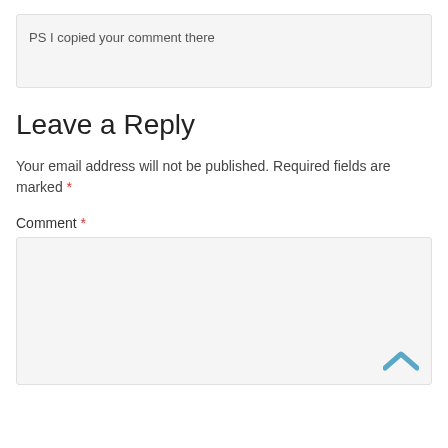PS I copied your comment there
Leave a Reply
Your email address will not be published. Required fields are marked *
Comment *